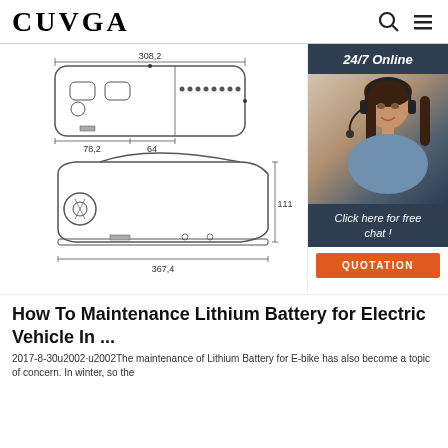CUVGA
[Figure (engineering-diagram): Technical engineering drawing of an e-bike lithium battery pack shown from two views. Top view shows dimensions 308.2 mm width, 78.2 mm and 64 mm partial widths. Side view shows dimensions 367.4 mm length and 111 mm height.]
[Figure (photo): Sidebar with woman wearing headset, customer support photo, with '24/7 Online' header, 'Click here for free chat!' text, and an orange QUOTATION button.]
How To Maintenance Lithium Battery for Electric Vehicle In ...
2017-8-30u2002·u2002The maintenance of Lithium Battery for E-bike has also become a topic of concern. In winter, so the